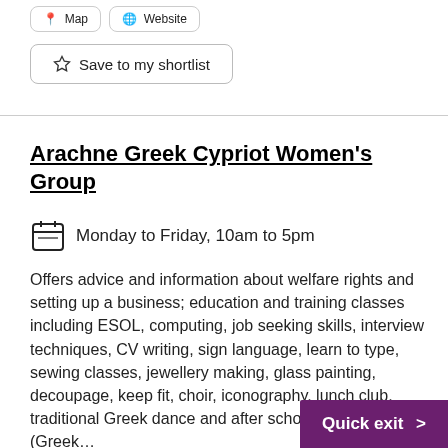Save to my shortlist
Arachne Greek Cypriot Women's Group
Monday to Friday, 10am to 5pm
Offers advice and information about welfare rights and setting up a business; education and training classes including ESOL, computing, job seeking skills, interview techniques, CV writing, sign language, learn to type, sewing classes, jewellery making, glass painting, decoupage, keep fit, choir, iconography, lunch club, traditional Greek dance and after school activities (Greek...